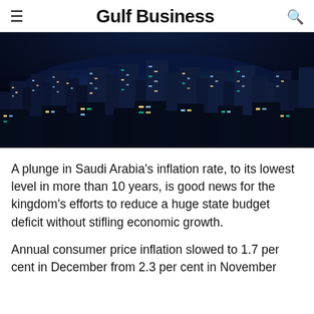Gulf Business
[Figure (photo): Aerial night view of a city skyline, likely Riyadh, Saudi Arabia, showing illuminated skyscrapers and cityscape at night with colorful lights.]
A plunge in Saudi Arabia's inflation rate, to its lowest level in more than 10 years, is good news for the kingdom's efforts to reduce a huge state budget deficit without stifling economic growth.
Annual consumer price inflation slowed to 1.7 per cent in December from 2.3 per cent in November